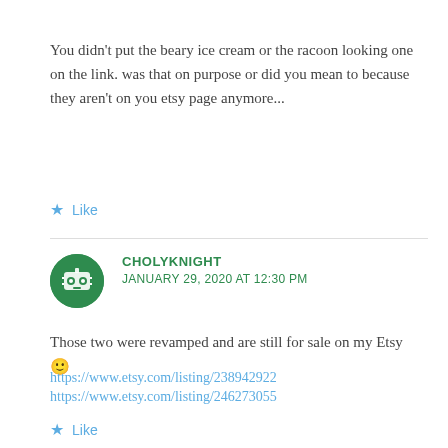You didn't put the beary ice cream or the racoon looking one on the link. was that on purpose or did you mean to because they aren't on you etsy page anymore...
Like
CHOLYKNIGHT
JANUARY 29, 2020 AT 12:30 PM
Those two were revamped and are still for sale on my Etsy 🙂
https://www.etsy.com/listing/238942922
https://www.etsy.com/listing/246273055
Like